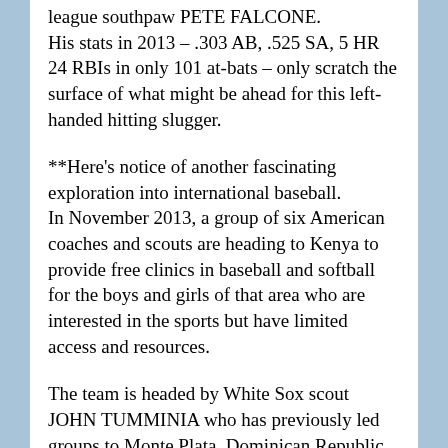league southpaw PETE FALCONE. His stats in 2013 – .303 AB, .525 SA, 5 HR 24 RBIs in only 101 at-bats – only scratch the surface of what might be ahead for this left-handed hitting slugger.
**Here's notice of another fascinating exploration into international baseball. In November 2013, a group of six American coaches and scouts are heading to Kenya to provide free clinics in baseball and softball for the boys and girls of that area who are interested in the sports but have limited access and resources.
The team is headed by White Sox scout JOHN TUMMINIA who has previously led groups to Monte Plata, Dominican Republic, and the Pine Ridge, South Dakota Native American